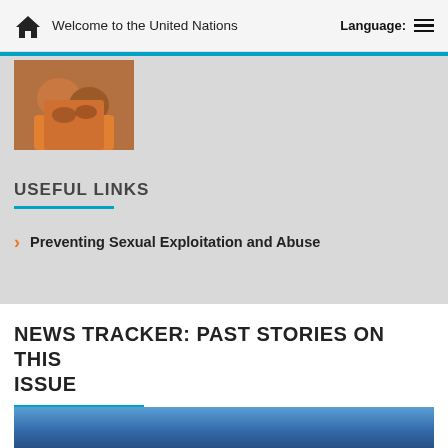Welcome to the United Nations   Language:
[Figure (photo): Close-up photo of two people holding hands, one wearing an orange garment]
USEFUL LINKS
Preventing Sexual Exploitation and Abuse
NEWS TRACKER: PAST STORIES ON THIS ISSUE
[Figure (photo): Partial photo of a person against a blue sky background, visible at bottom of page]